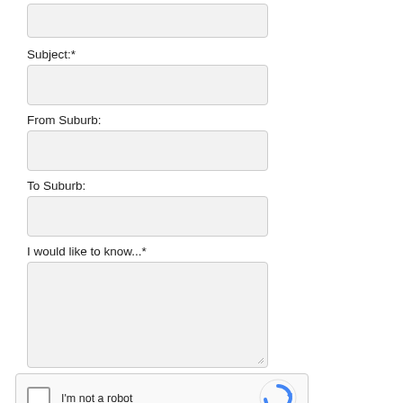[Figure (screenshot): Empty text input field at top of form]
Subject:*
[Figure (screenshot): Empty text input field for Subject]
From Suburb:
[Figure (screenshot): Empty text input field for From Suburb]
To Suburb:
[Figure (screenshot): Empty text input field for To Suburb]
I would like to know...*
[Figure (screenshot): Large textarea for I would like to know]
[Figure (screenshot): reCAPTCHA widget with checkbox and I'm not a robot text]